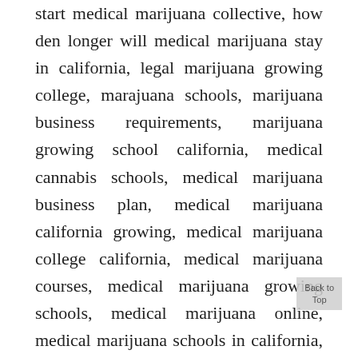start medical marijuana collective, how den longer will medical marijuana stay in california, legal marijuana growing college, marajuana schools, marijuana business requirements, marijuana growing school california, medical cannabis schools, medical marijuana business plan, medical marijuana california growing, medical marijuana college california, medical marijuana courses, medical marijuana growing schools, medical marijuana online, medical marijuana schools in california, medicinal marijuana online, medicinal marijuana school, oakland marijuana school, open a dispensary in california, open a dispensary in la, open a medical dispensary, open medical marijuana dispensary california, opening a california dispensaries, opening a cannabis dispensary, opening a dispensary in bakersfield, opening a dispensary in california, opening a weed dispensary